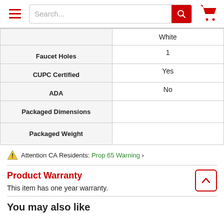Search... [search button] [cart icon]
|  |  |
| --- | --- |
|  | White |
| Faucet Holes | 1 |
| CUPC Certified | Yes |
| ADA | No |
| Packaged Dimensions |  |
| Packaged Weight |  |
⚠ Attention CA Residents: Prop 65 Warning >
Product Warranty
This item has one year warranty.
You may also like